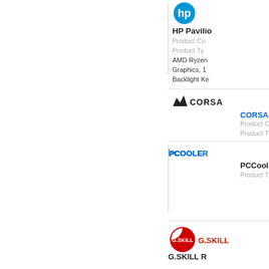[Figure (logo): HP circular blue logo]
HP Pavilio
Product Co
Product Ty
AMD Ryzen
Graphics, 1
Backlight Ke
[Figure (photo): HP Pavilion product image placeholder - camera icon]
[Figure (logo): Corsair logo with mountain/sail icon and text CORSAIR]
CORSAIR V
Product Co
Product Ty
[Figure (photo): Corsair Vengeance LPX RAM sticks in black with yellow accents]
[Figure (logo): PCCooler logo with stylized text]
PCCooler P
Product Ty
[Figure (photo): PCCooler product image placeholder - camera icon]
[Figure (logo): G.SKILL logo - circular red design with G.SKILL text]
G.SKILL R
[Figure (photo): G.SKILL product image - RAM stick]